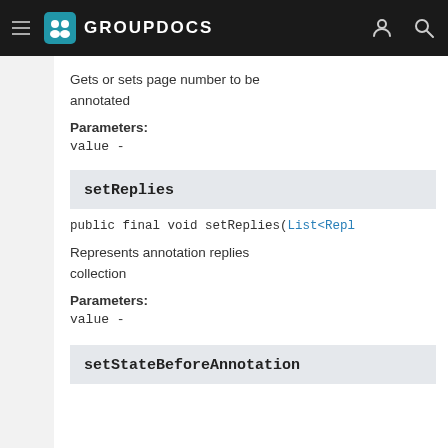GROUPDOCS
Gets or sets page number to be annotated
Parameters:
value -
setReplies
public final void setReplies(List<Repl
Represents annotation replies collection
Parameters:
value -
setStateBeforeAnnotation